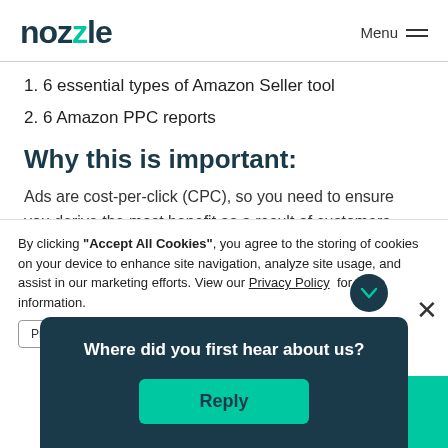nozzle | Menu
1. 6 essential types of Amazon Seller tool
2. 6 Amazon PPC reports
Why this is important:
Ads are cost-per-click (CPC), so you need to ensure you derive the most benefit as a result of customers clicking your ads. It would usually be best to control how much you spend by setting your budget and choosing how
By clicking "Accept All Cookies", you agree to the storing of cookies on your device to enhance site navigation, analyze site usage, and assist in our marketing efforts. View our Privacy Policy for more information.
Where did you first hear about us?
Reply